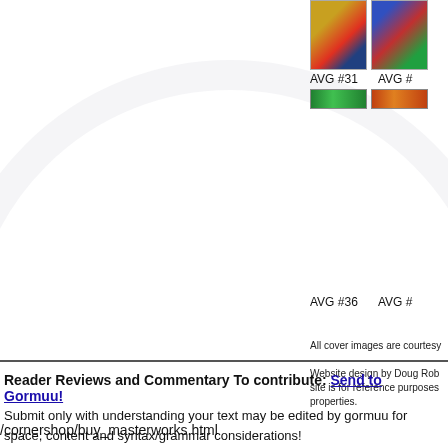[Figure (illustration): Comic book cover thumbnail for AVG #31 - colorful illustrated cover]
[Figure (illustration): Comic book cover thumbnail for AVG # (partially cropped) - colorful illustrated cover]
AVG #31
AVG #
[Figure (illustration): Small strip cover image, green tones, for AVG series]
[Figure (illustration): Small strip cover image, orange/red tones, for AVG series]
AVG #36
AVG #
All cover images are courtesy
Website design by Doug Rob site is for reference purposes properties.
Reader Reviews and Commentary To contribute: Send to Gormuu!
Submit only with understanding your text may be edited by gormuu for space, content and syntax/grammar considerations!
/cornershop/buy_masterworks.html